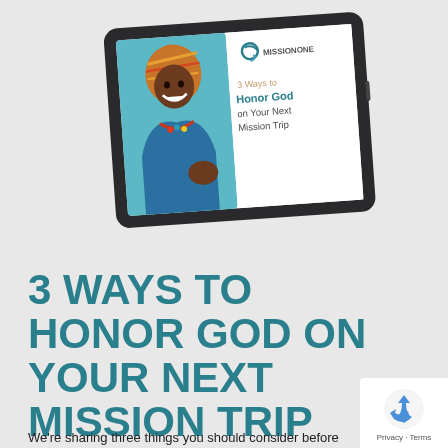[Figure (illustration): A tablet device displaying a MissionOne e-book cover titled '3 Ways to Honor God on Your Next Mission Trip', featuring a smiling African woman in colorful clothing and headwrap on the left side of the cover.]
3 WAYS TO HONOR GOD ON YOUR NEXT MISSION TRIP
We're sharing three things you should consider before